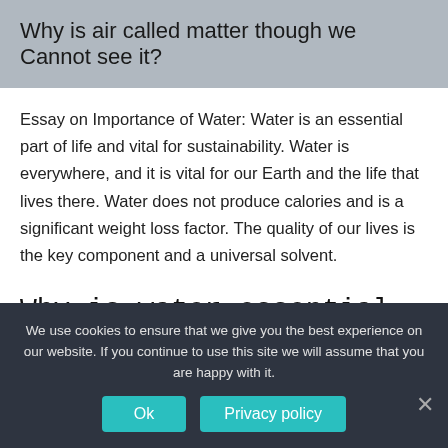Why is air called matter though we Cannot see it?
Essay on Importance of Water: Water is an essential part of life and vital for sustainability. Water is everywhere, and it is vital for our Earth and the life that lives there. Water does not produce calories and is a significant weight loss factor. The quality of our lives is the key component and a universal solvent.
Why is water essential for life write 10 points on
We use cookies to ensure that we give you the best experience on our website. If you continue to use this site we will assume that you are happy with it.